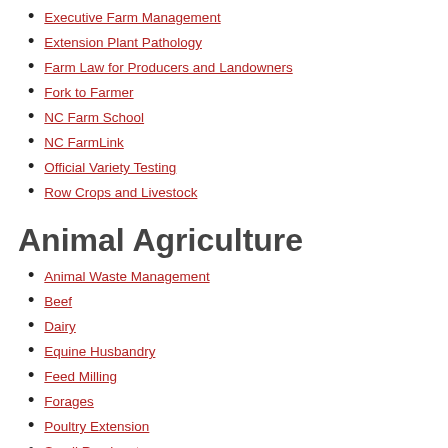Executive Farm Management
Extension Plant Pathology
Farm Law for Producers and Landowners
Fork to Farmer
NC Farm School
NC FarmLink
Official Variety Testing
Row Crops and Livestock
Animal Agriculture
Animal Waste Management
Beef
Dairy
Equine Husbandry
Feed Milling
Forages
Poultry Extension
Small Ruminants
Swine
Youth Livestock Program